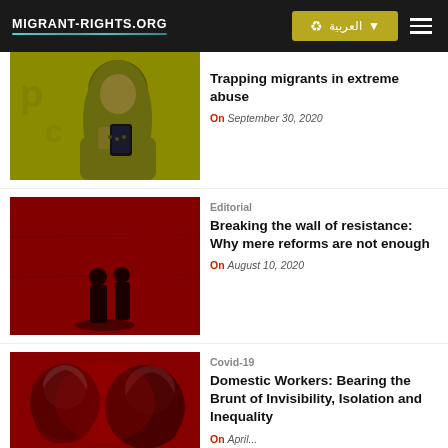MIGRANT-RIGHTS.ORG | العربية | menu
[Figure (illustration): Olive/yellow-toned illustration of a woman in hijab looking at a smartphone]
Trapping migrants in extreme abuse
On September 30, 2020
[Figure (photo): Red-toned photo of two silhouetted figures standing in front of a wall]
Editorial
Breaking the wall of resistance: Why mere reforms are not enough
On August 10, 2020
[Figure (photo): Red-toned photo of people with head coverings, partially cropped]
Covid-19
Domestic Workers: Bearing the Brunt of Invisibility, Isolation and Inequality
On April...